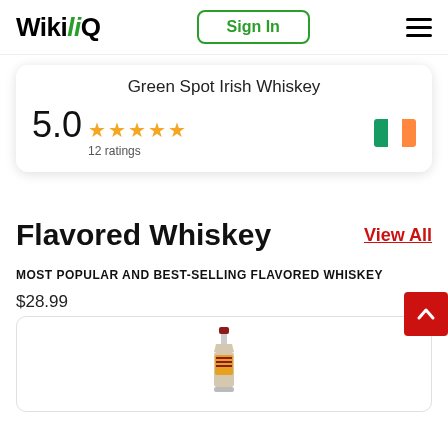WikiliQ
Green Spot Irish Whiskey
5.0 ★★★★★ 12 ratings
Flavored Whiskey
View All
MOST POPULAR AND BEST-SELLING FLAVORED WHISKEY
$28.99
[Figure (photo): Bottle of flavored whiskey product]